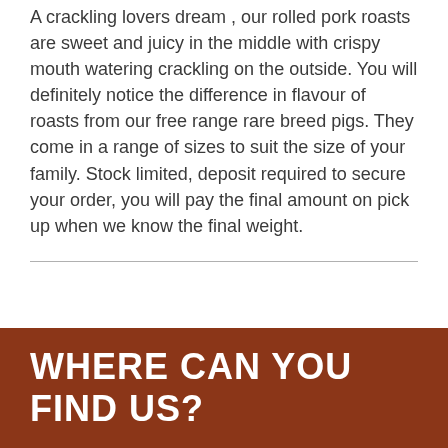A crackling lovers dream , our rolled pork roasts are sweet and juicy in the middle with crispy mouth watering crackling on the outside. You will definitely notice the difference in flavour of roasts from our free range rare breed pigs. They come in a range of sizes to suit the size of your family. Stock limited, deposit required to secure your order, you will pay the final amount on pick up when we know the final weight.
WHERE CAN YOU FIND US?